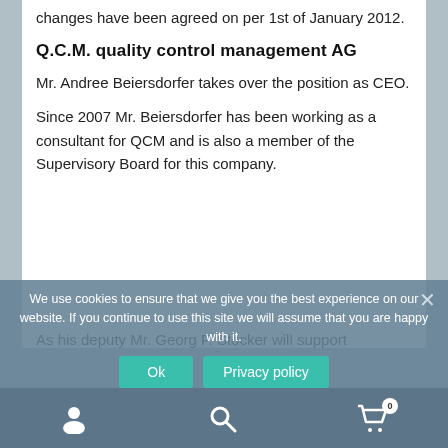changes have been agreed on per 1st of January 2012.
Q.C.M. quality control management AG
Mr. Andree Beiersdorfer takes over the position as CEO.
Since 2007 Mr. Beiersdorfer has been working as a consultant for QCM and is also a member of the Supervisory Board for this company.
As his deputy Mr. Georg F. Stocker will support
We use cookies to ensure that we give you the best experience on our website. If you continue to use this site we will assume that you are happy with it.